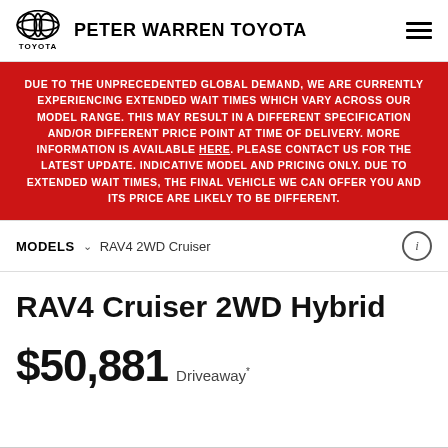PETER WARREN TOYOTA
DUE TO THE UNPRECEDENTED GLOBAL DEMAND, WE ARE CURRENTLY EXPERIENCING EXTENDED WAIT TIMES WHICH VARY ACROSS OUR MODEL RANGE. THIS MAY RESULT IN A DIFFERENT SPECIFICATION AND/OR DIFFERENT PRICE POINT AT TIME OF DELIVERY. MORE INFORMATION IS AVAILABLE HERE. PLEASE CONTACT US FOR THE LATEST UPDATE. INDICATIVE MODEL AND PRICING ONLY. DUE TO EXTENDED WAIT TIMES, THE FINAL VEHICLE WE CAN OFFER YOU AND ITS PRICE ARE LIKELY TO BE DIFFERENT.
MODELS  RAV4 2WD Cruiser
RAV4 Cruiser 2WD Hybrid
$50,881 Driveaway *